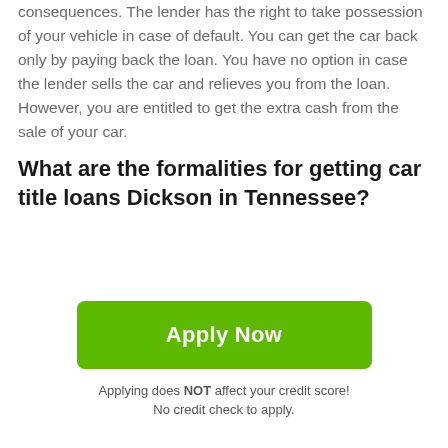consequences. The lender has the right to take possession of your vehicle in case of default. You can get the car back only by paying back the loan. You have no option in case the lender sells the car and relieves you from the loan. However, you are entitled to get the extra cash from the sale of your car.
What are the formalities for getting car title loans Dickson in Tennessee?
Other than the eligibility requirements for title loans, you also need to have the following documents:
Government-issued identification...
[Figure (other): Scroll-to-top button with upward arrow icon, dark grey rounded square]
Apply Now
Applying does NOT affect your credit score!
No credit check to apply.